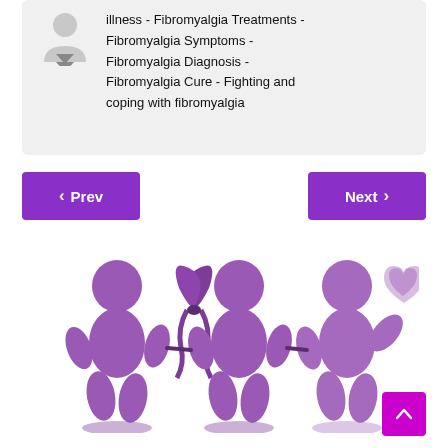illness - Fibromyalgia Treatments - Fibromyalgia Symptoms - Fibromyalgia Diagnosis - Fibromyalgia Cure - Fighting and coping with fibromyalgia
Prev
Next
[Figure (illustration): Purple paper doll chain of three figures holding hands, with a purple awareness ribbon tied around them and one figure holding a pink heart, on a white background]